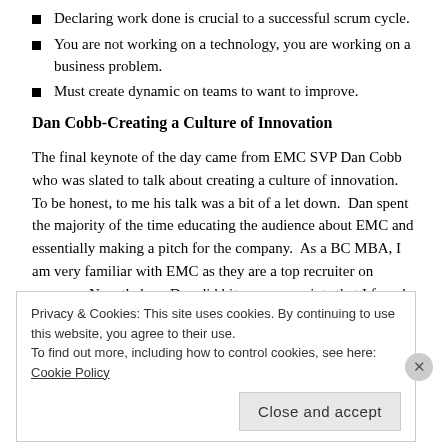Declaring work done is crucial to a successful scrum cycle.
You are not working on a technology, you are working on a business problem.
Must create dynamic on teams to want to improve.
Dan Cobb-Creating a Culture of Innovation
The final keynote of the day came from EMC SVP Dan Cobb who was slated to talk about creating a culture of innovation.  To be honest, to me his talk was a bit of a let down.  Dan spent the majority of the time educating the audience about EMC and essentially making a pitch for the company.  As a BC MBA, I am very familiar with EMC as they are a top recruiter on campus.  Nonetheless, Dan did hit on some points that I found very interesting.
Privacy & Cookies: This site uses cookies. By continuing to use this website, you agree to their use.
To find out more, including how to control cookies, see here: Cookie Policy